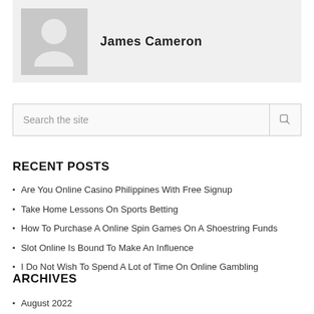[Figure (photo): User profile card with generic avatar silhouette and name James Cameron]
James Cameron
Search the site
RECENT POSTS
Are You Online Casino Philippines With Free Signup
Take Home Lessons On Sports Betting
How To Purchase A Online Spin Games On A Shoestring Funds
Slot Online Is Bound To Make An Influence
I Do Not Wish To Spend A Lot of Time On Online Gambling
ARCHIVES
August 2022